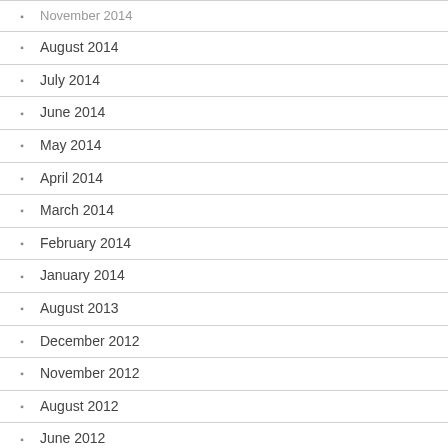November 2014 (partial)
August 2014
July 2014
June 2014
May 2014
April 2014
March 2014
February 2014
January 2014
August 2013
December 2012
November 2012
August 2012
June 2012
May 2012